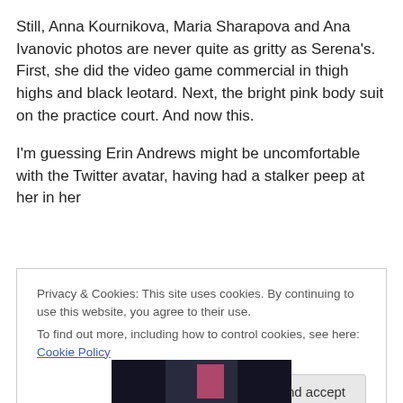Still, Anna Kournikova, Maria Sharapova and Ana Ivanovic photos are never quite as gritty as Serena's. First, she did the video game commercial in thigh highs and black leotard. Next, the bright pink body suit on the practice court. And now this.
I'm guessing Erin Andrews might be uncomfortable with the Twitter avatar, having had a stalker peep at her in her
Privacy & Cookies: This site uses cookies. By continuing to use this website, you agree to their use.
To find out more, including how to control cookies, see here: Cookie Policy
[Figure (photo): Partial photo strip at bottom of page showing dark background with pink element]